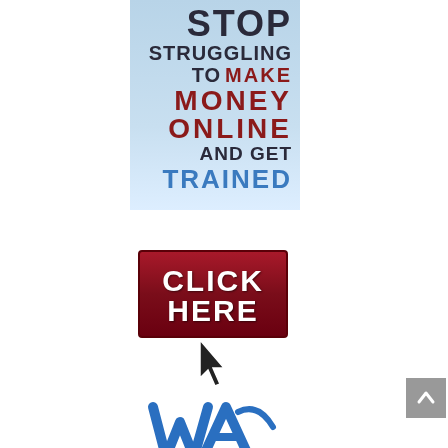[Figure (illustration): Advertisement banner: 'STOP STRUGGLING TO MAKE MONEY ONLINE AND GET TRAINED' with a red CLICK HERE button and cursor icon, followed by Wealthy Affiliate University logo]
[Figure (logo): Wealthy Affiliate University logo with WA monogram in blue and text 'WEALTHY AFFILIATE UNIVERSITY']